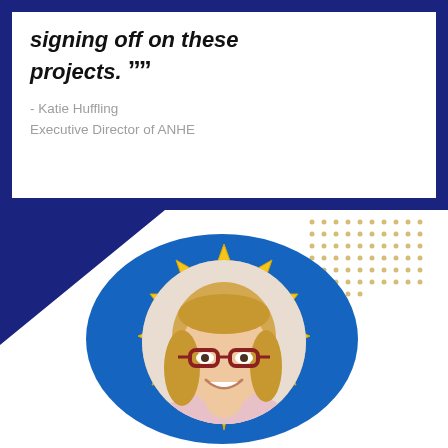signing off on these projects. ”” - Katie Huffling, Executive Director of ANHE
[Figure (photo): Portrait photo of Katie Huffling, a smiling woman with blonde hair and red-framed glasses, displayed in a circular frame surrounded by a yellow starburst/sun badge on a blue blob background with decorative elements.]